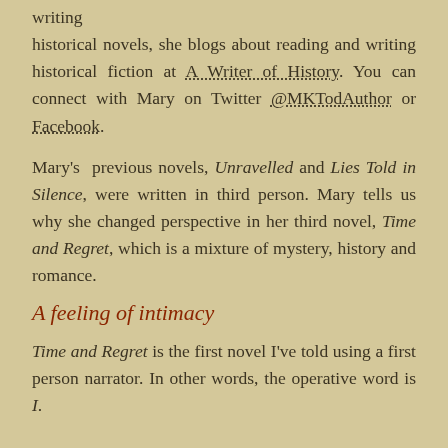writing historical novels, she blogs about reading and writing historical fiction at A Writer of History. You can connect with Mary on Twitter @MKTodAuthor or Facebook.
Mary's previous novels, Unravelled and Lies Told in Silence, were written in third person. Mary tells us why she changed perspective in her third novel, Time and Regret, which is a mixture of mystery, history and romance.
A feeling of intimacy
Time and Regret is the first novel I've told using a first person narrator. In other words, the operative word is I.